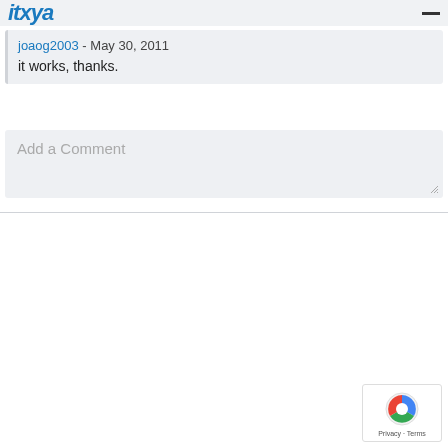itxya
joaog2003 - May 30, 2011
it works, thanks.
Add a Comment